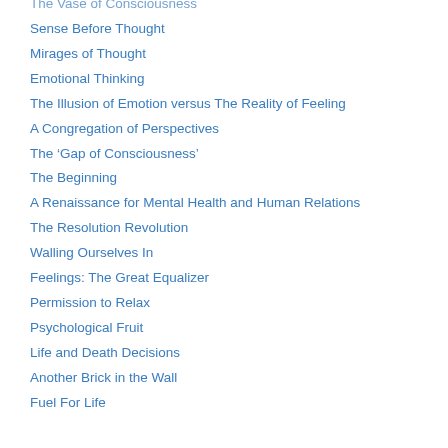The Vase of Consciousness
Sense Before Thought
Mirages of Thought
Emotional Thinking
The Illusion of Emotion versus The Reality of Feeling
A Congregation of Perspectives
The 'Gap of Consciousness'
The Beginning
A Renaissance for Mental Health and Human Relations
The Resolution Revolution
Walling Ourselves In
Feelings: The Great Equalizer
Permission to Relax
Psychological Fruit
Life and Death Decisions
Another Brick in the Wall
Fuel For Life